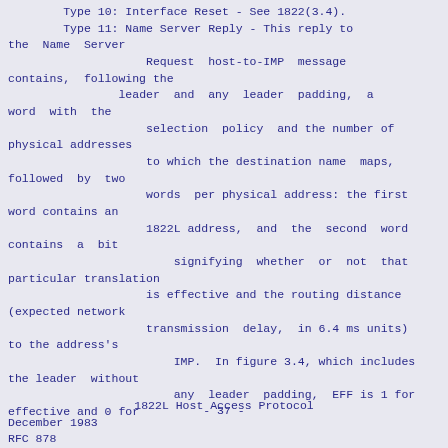Type 10: Interface Reset - See 1822(3.4).
        Type 11: Name Server Reply - This reply to the Name  Server
                        Request  host-to-IMP  message contains, following the
                leader  and  any  leader  padding,  a word  with  the
                        selection  policy  and the number of physical addresses
                        to which the destination name  maps, followed  by  two
                        words  per physical address: the first word contains an
                        1822L address,  and  the  second  word contains  a  bit
                                signifying  whether  or  not  that particular translation
                        is effective and the routing distance (expected network
                        transmission  delay,  in 6.4 ms units) to the address's
                                IMP.  In figure 3.4, which includes the leader  without
                                any  leader  padding,  EFF is 1 for effective and 0 for
- 37 -
1822L    Host    Access    Protocol
December 1983
        RFC 878